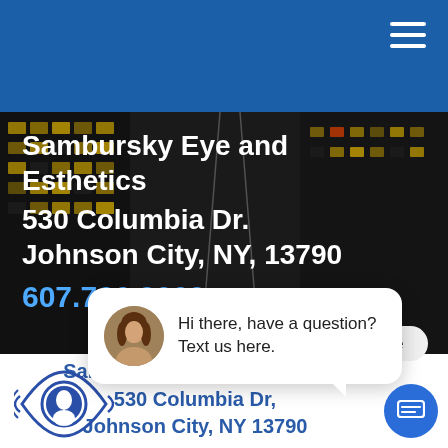Sambursky Eye and Esthetics
530 Columbia Dr.
Johnson City, NY, 13790
607.766.9002
[Figure (screenshot): Chat popup bubble with avatar photo of woman and text: Hi there, have a question? Text us here.]
[Figure (logo): Sambursky Eye and Esthetics eye logo — blue eye outline with swirl and face silhouette inside]
Sambursky Eye & Esthetics
530 Columbia Dr,
Johnson City, NY 13790